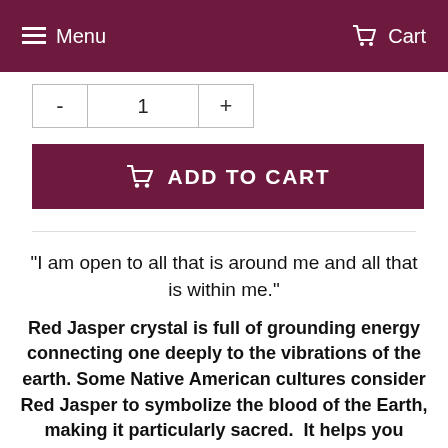Menu   Cart
- 1 +
ADD TO CART
"I am open to all that is around me and all that is within me."
Red Jasper crystal is full of grounding energy connecting one deeply to the vibrations of the earth. Some Native American cultures consider Red Jasper to symbolize the blood of the Earth, making it particularly sacred.  It helps you understand the connection between humans and nature. Known as the “supreme nurturer”, it sustains and supports through times of stress